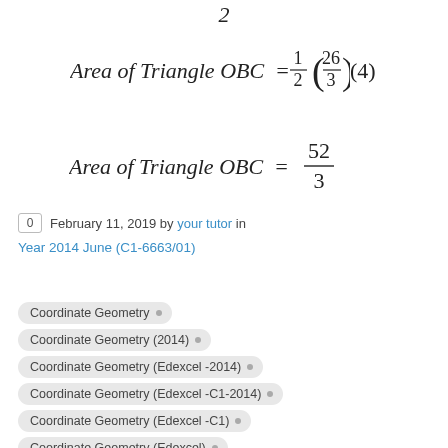0  February 11, 2019 by your tutor in
Year 2014 June (C1-6663/01)
Coordinate Geometry
Coordinate Geometry (2014)
Coordinate Geometry (Edexcel -2014)
Coordinate Geometry (Edexcel -C1-2014)
Coordinate Geometry (Edexcel -C1)
Coordinate Geometry (Edexcel)
Coordinate Geometry (Straight Lines- Edexcel 2014)